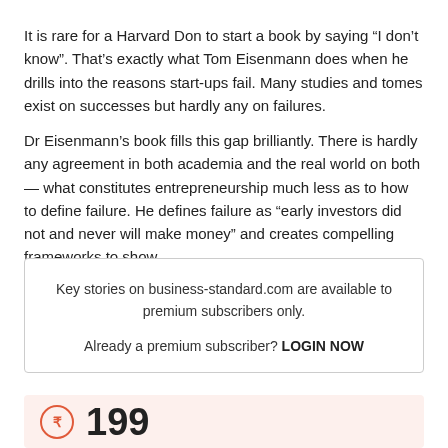It is rare for a Harvard Don to start a book by saying “I don’t know”. That’s exactly what Tom Eisenmann does when he drills into the reasons start-ups fail. Many studies and tomes exist on successes but hardly any on failures.
Dr Eisenmann’s book fills this gap brilliantly. There is hardly any agreement in both academia and the real world on both — what constitutes entrepreneurship much less as to how to define failure. He defines failure as “early investors did not and never will make money” and creates compelling frameworks to show …
Key stories on business-standard.com are available to premium subscribers only.

Already a premium subscriber? LOGIN NOW
199